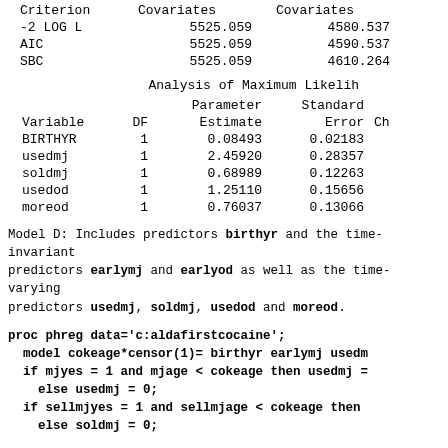| Criterion | Covariates | Covariates |
| --- | --- | --- |
| -2 LOG L | 5525.059 | 4580.537 |
| AIC | 5525.059 | 4590.537 |
| SBC | 5525.059 | 4610.264 |
Analysis of Maximum Likelih
| Variable | DF | Parameter Estimate | Standard Error | Ch |
| --- | --- | --- | --- | --- |
| BIRTHYR | 1 | 0.08493 | 0.02183 |  |
| usedmj | 1 | 2.45920 | 0.28357 |  |
| soldmj | 1 | 0.68989 | 0.12263 |  |
| usedod | 1 | 1.25110 | 0.15656 |  |
| moreod | 1 | 0.76037 | 0.13066 |  |
Model D: Includes predictors birthyr and the time-invariant predictors earlymj and earlyod as well as the time-varying predictors usedmj, soldmj, usedod and moreod.
proc phreg data='c:aldafirstcocaine';
  model cokeage*censor(1)= birthyr earlymj usedm
  if mjyes = 1 and mjage < cokeage then usedmj =
    else usedmj = 0;
  if sellmjyes = 1 and sellmjage < cokeage then
    else soldmj = 0;